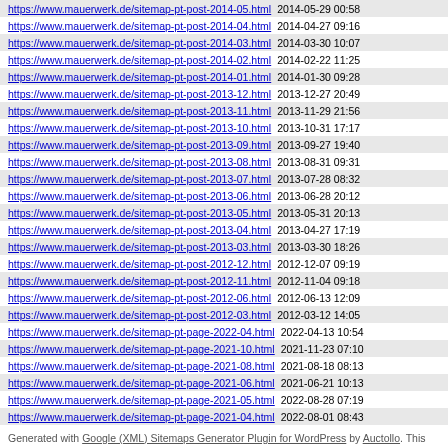| URL | Last Modified |
| --- | --- |
| https://www.mauerwerk.de/sitemap-pt-post-2014-05.html | 2014-05-29 00:58 |
| https://www.mauerwerk.de/sitemap-pt-post-2014-04.html | 2014-04-27 09:16 |
| https://www.mauerwerk.de/sitemap-pt-post-2014-03.html | 2014-03-30 10:07 |
| https://www.mauerwerk.de/sitemap-pt-post-2014-02.html | 2014-02-22 11:25 |
| https://www.mauerwerk.de/sitemap-pt-post-2014-01.html | 2014-01-30 09:28 |
| https://www.mauerwerk.de/sitemap-pt-post-2013-12.html | 2013-12-27 20:49 |
| https://www.mauerwerk.de/sitemap-pt-post-2013-11.html | 2013-11-29 21:56 |
| https://www.mauerwerk.de/sitemap-pt-post-2013-10.html | 2013-10-31 17:17 |
| https://www.mauerwerk.de/sitemap-pt-post-2013-09.html | 2013-09-27 19:40 |
| https://www.mauerwerk.de/sitemap-pt-post-2013-08.html | 2013-08-31 09:31 |
| https://www.mauerwerk.de/sitemap-pt-post-2013-07.html | 2013-07-28 08:32 |
| https://www.mauerwerk.de/sitemap-pt-post-2013-06.html | 2013-06-28 20:12 |
| https://www.mauerwerk.de/sitemap-pt-post-2013-05.html | 2013-05-31 20:13 |
| https://www.mauerwerk.de/sitemap-pt-post-2013-04.html | 2013-04-27 17:19 |
| https://www.mauerwerk.de/sitemap-pt-post-2013-03.html | 2013-03-30 18:26 |
| https://www.mauerwerk.de/sitemap-pt-post-2012-12.html | 2012-12-07 09:19 |
| https://www.mauerwerk.de/sitemap-pt-post-2012-11.html | 2012-11-04 09:18 |
| https://www.mauerwerk.de/sitemap-pt-post-2012-06.html | 2012-06-13 12:09 |
| https://www.mauerwerk.de/sitemap-pt-post-2012-03.html | 2012-03-12 14:05 |
| https://www.mauerwerk.de/sitemap-pt-page-2022-04.html | 2022-04-13 10:54 |
| https://www.mauerwerk.de/sitemap-pt-page-2021-10.html | 2021-11-23 07:10 |
| https://www.mauerwerk.de/sitemap-pt-page-2021-08.html | 2021-08-18 08:13 |
| https://www.mauerwerk.de/sitemap-pt-page-2021-06.html | 2021-06-21 10:13 |
| https://www.mauerwerk.de/sitemap-pt-page-2021-05.html | 2022-08-28 07:19 |
| https://www.mauerwerk.de/sitemap-pt-page-2021-04.html | 2022-08-01 08:43 |
Generated with Google (XML) Sitemaps Generator Plugin for WordPress by Auctollo. This XSLT template is released under the GPL and free to use. If you have problems with your sitemap please visit the support forum.